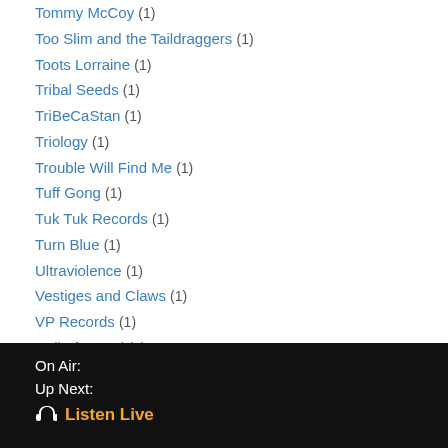Tommy McCoy (1)
Too Slim and the Taildraggers (1)
Toots Lorraine (1)
Tribal Seeds (1)
TriBeCaStan (1)
Triology (1)
Trouble Will Find Me (1)
Tuff Gong (1)
Tuk Tuk Records (1)
Turn Blue (1)
Ultraviolence (1)
Vestiges and Claws (1)
VP Records (1)
wall-of-sound (1)
Warner Brother Records (1)
Warner Brothers (1)
Warren Haynes (1)
On Air:
Up Next:
🎧 Listen Live